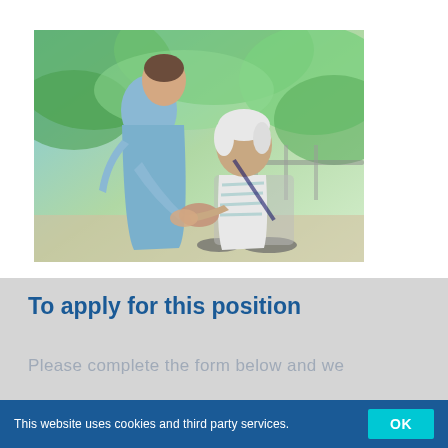[Figure (photo): A female nurse in blue scrubs bending down and holding the hands of an elderly woman seated in a wheelchair, outdoors with green foliage in the background.]
To apply for this position
Please complete the form below and we
This website uses cookies and third party services.  OK